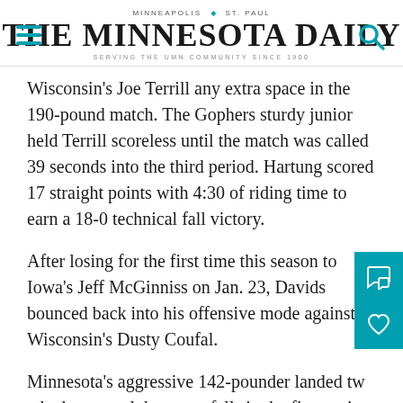MINNEAPOLIS | ST. PAUL
THE MINNESOTA DAILY
SERVING THE UMN COMMUNITY SINCE 1900
Wisconsin's Joe Terrill any extra space in the 190-pound match. The Gophers sturdy junior held Terrill scoreless until the match was called 39 seconds into the third period. Hartung scored 17 straight points with 4:30 of riding time to earn a 18-0 technical fall victory.
After losing for the first time this season to Iowa's Jeff McGinniss on Jan. 23, Davids bounced back into his offensive mode against Wisconsin's Dusty Coufal.
Minnesota's aggressive 142-pounder landed two takedowns and three nearfalls in the first period to claim control of the match. After three more